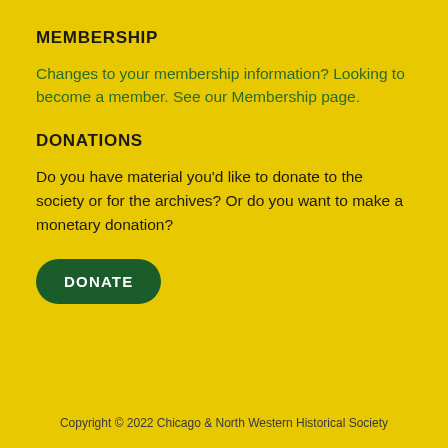MEMBERSHIP
Changes to your membership information?  Looking to become a member.  See our Membership page.
DONATIONS
Do you have material you'd like to donate to the society or for the archives?  Or do you want to make a monetary donation?
DONATE
Copyright © 2022 Chicago & North Western Historical Society